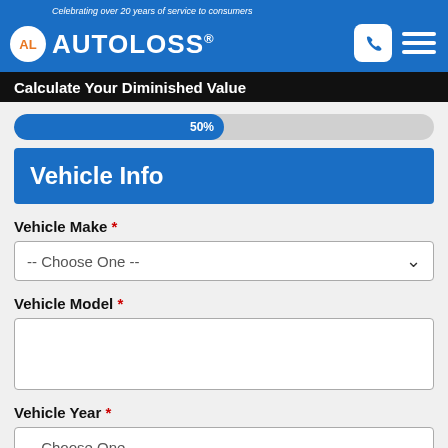Celebrating over 20 years of service to consumers | AUTOLOSS®
Calculate Your Diminished Value
50%
Vehicle Info
Vehicle Make *
-- Choose One --
Vehicle Model *
Vehicle Year *
-- Choose One --
Vehicle Assessment